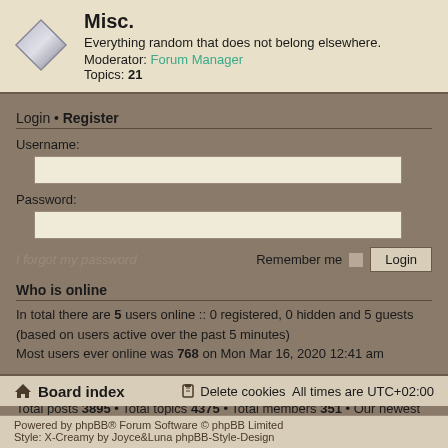Misc.
Everything random that does not belong elsewhere.
Moderator: Forum Manager
Topics: 21
Login • Register
Username:
Password:
I forgot my password    Remember me    Login
Who is online
In total there are 5 users online :: 0 registered, 0 hidden and 5 guests (based on users active over the past 5 minutes)
Most users ever online was 768 on Mon Mar 16, 2020 12:41 am
Statistics
Total posts 3895 • Total topics 4375 • Total members 351 • Our newest member DanielAssom
🏠 Board index    🗑 Delete cookies   All times are UTC+02:00
Powered by phpBB® Forum Software © phpBB Limited
Style: X-Creamy by Joyce&Luna phpBB-Style-Design